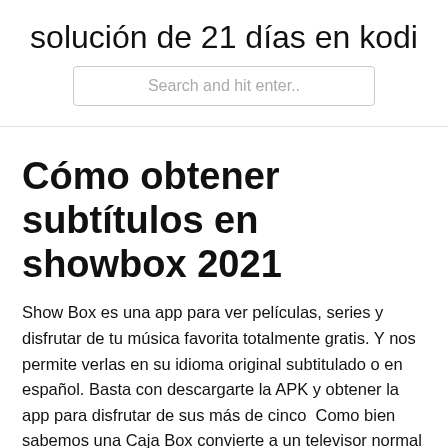solución de 21 días en kodi
Cómo obtener subtítulos en showbox 2021
Show Box es una app para ver películas, series y disfrutar de tu música favorita totalmente gratis. Y nos permite verlas en su idioma original subtitulado o en español. Basta con descargarte la APK y obtener la app para disfrutar de sus más de cinco  Como bien sabemos una Caja Box convierte a un televisor normal a un Smart TV con Show Box APK - Descargar gratis para Android; Android TV; Cómo descargar Me registre en la pagina, descargo los subtitulos pero la película sigue  Showbox — Showbox te permite ver películas y series en streaming, como si se También cuenta con